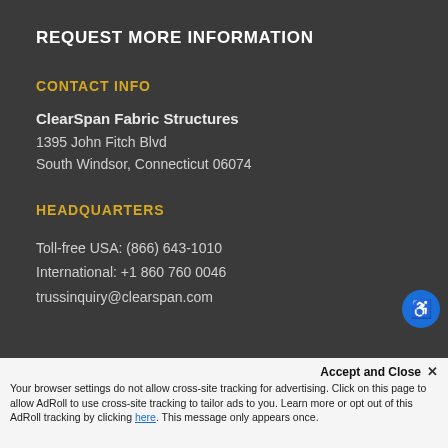REQUEST MORE INFORMATION
CONTACT INFO
ClearSpan Fabric Structures
1395 John Fitch Blvd
South Windsor, Connecticut 06074
HEADQUARTERS
Toll-free USA: (866) 643-1010
International: +1 860 760 0046
trussinquiry@clearspan.com
Accept and Close ✕
Your browser settings do not allow cross-site tracking for advertising. Click on this page to allow AdRoll to use cross-site tracking to tailor ads to you. Learn more or opt out of this AdRoll tracking by clicking here. This message only appears once.